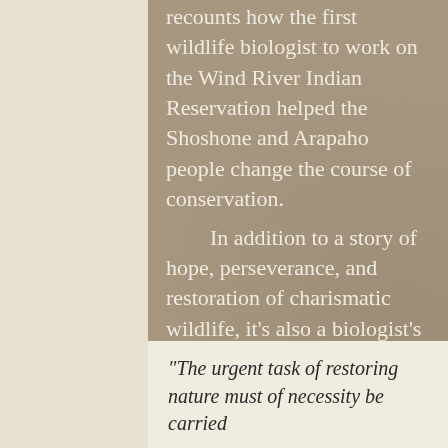recounts how the first wildlife biologist to work on the Wind River Indian Reservation helped the Shoshone and Arapaho people change the course of conservation.
    In addition to a story of hope, perseverance, and restoration of charismatic wildlife, it's also a biologist's personal journey to understanding the true purpose of his work.
What others are saying about Wildlife on the Wind:
"The urgent task of restoring nature must of necessity be carried